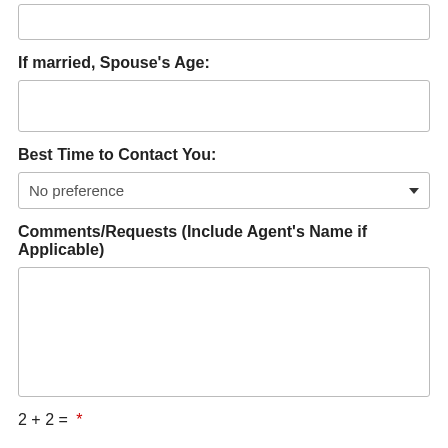(input box — top, partial)
If married, Spouse's Age:
(input box for spouse's age)
Best Time to Contact You:
No preference (dropdown)
Comments/Requests (Include Agent's Name if Applicable)
(text area)
2 + 2 =  *